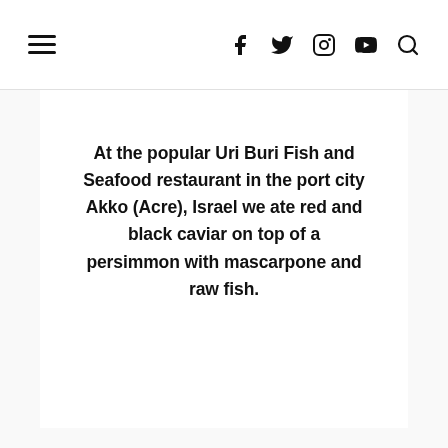Navigation header with hamburger menu and social icons: Facebook, Twitter, Instagram, YouTube, Search
At the popular Uri Buri Fish and Seafood restaurant in the port city Akko (Acre), Israel we ate red and black caviar on top of a persimmon with mascarpone and raw fish.